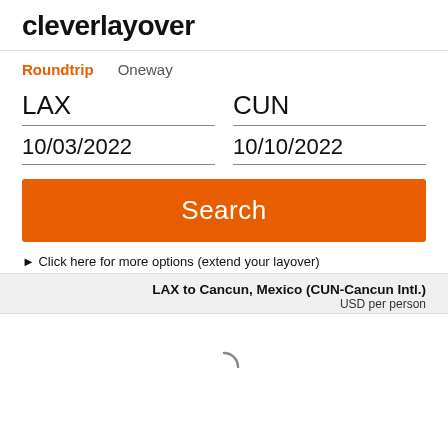cleverlayover
Roundtrip   Oneway
LAX
CUN
10/03/2022
10/10/2022
Search
► Click here for more options (extend your layover)
LAX to Cancun, Mexico (CUN-Cancun Intl.)
USD per person
[Figure (other): Loading spinner animation (partial circle arc indicating content is loading)]